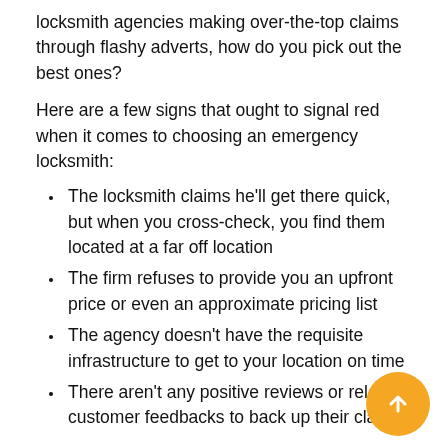locksmith agencies making over-the-top claims through flashy adverts, how do you pick out the best ones?
Here are a few signs that ought to signal red when it comes to choosing an emergency locksmith:
The locksmith claims he'll get there quick, but when you cross-check, you find them located at a far off location
The firm refuses to provide you an upfront price or even an approximate pricing list
The agency doesn't have the requisite infrastructure to get to your location on time
There aren't any positive reviews or relevant customer feedbacks to back up their claims
Thankfully, you don't have to be at the receiving end of unreliable, misleading and money-minting locksmithing agencies, when you've got Chicago Liberty Locksmith as the emergency locksmith service near you.
We're always near you: